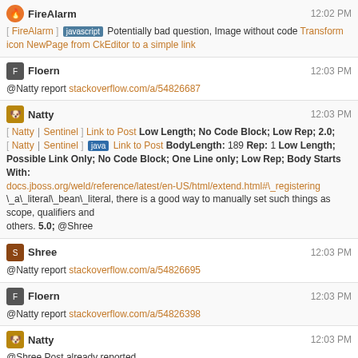FireAlarm 12:02 PM [ FireAlarm ] javascript Potentially bad question, Image without code Transform icon NewPage from CkEditor to a simple link
Floern 12:03 PM @Natty report stackoverflow.com/a/54826687
Natty 12:03 PM [ Natty | Sentinel ] Link to Post Low Length; No Code Block; Low Rep; 2.0; [ Natty | Sentinel ] java Link to Post BodyLength: 189 Rep: 1 Low Length; Possible Link Only; No Code Block; One Line only; Low Rep; Body Starts With: docs.jboss.org/weld/reference/latest/en-US/html/extend.html#\_registering \_a\_literal\_bean\_literal, there is a good way to manually set such things as scope, qualifiers and others. 5.0; @Shree
Shree 12:03 PM @Natty report stackoverflow.com/a/54826695
Floern 12:03 PM @Natty report stackoverflow.com/a/54826398
Natty 12:03 PM @Shree Post already reported [ Natty | Sentinel ] Link to Post Low Length; No Code Block; Low Rep; 1.5;
Floern 12:03 PM @Natty report stackoverflow.com/a/54826476